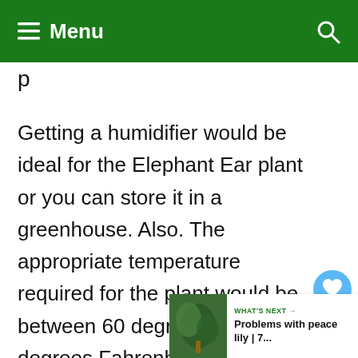≡ Menu
p
Getting a humidifier would be ideal for the Elephant Ear plant or you can store it in a greenhouse. Also. The appropriate temperature required for the plant would be between 60 degrees to 82 degrees Fahrenheit.
[Figure (other): Heart/like button icon (blue circle with heart)]
[Figure (other): Share button with count 2 (green pill with share icon)]
[Figure (other): What's Next callout: Problems with peace lily | 7...]